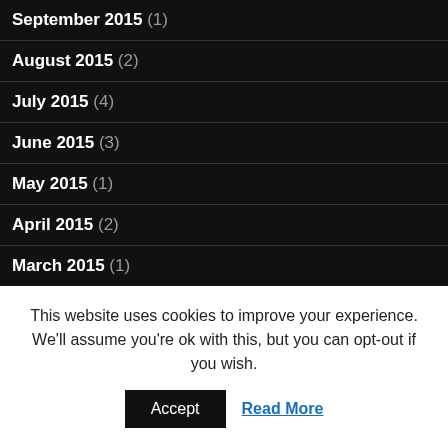September 2015 (1)
August 2015 (2)
July 2015 (4)
June 2015 (3)
May 2015 (1)
April 2015 (2)
March 2015 (1)
February 2015 (2)
December 2014 (1)
November 2014 (1)
This website uses cookies to improve your experience. We'll assume you're ok with this, but you can opt-out if you wish.
Accept | Read More